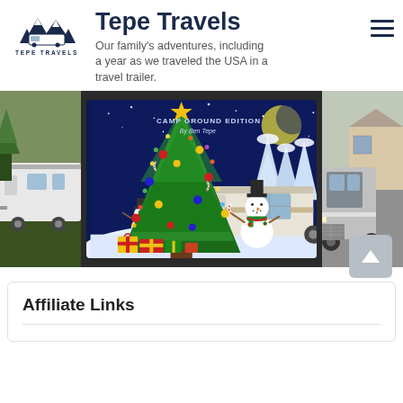[Figure (logo): Tepe Travels logo: mountain/trees/RV illustration above text TEPE TRAVELS]
Tepe Travels
Our family's adventures, including a year as we traveled the USA in a travel trailer.
[Figure (illustration): Carousel of images: left shows outdoor RV scene, center shows Christmas-themed book cover illustration with decorated tree, snowmen, travel trailer, snowy night sky, 'CAMP GROUND EDITION By Ben Tepe', right shows truck grille]
Affiliate Links